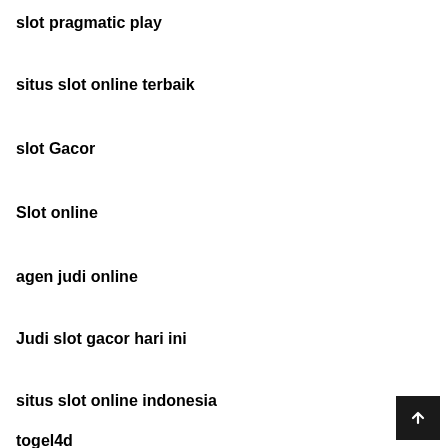slot pragmatic play
situs slot online terbaik
slot Gacor
Slot online
agen judi online
Judi slot gacor hari ini
situs slot online indonesia
togel4d